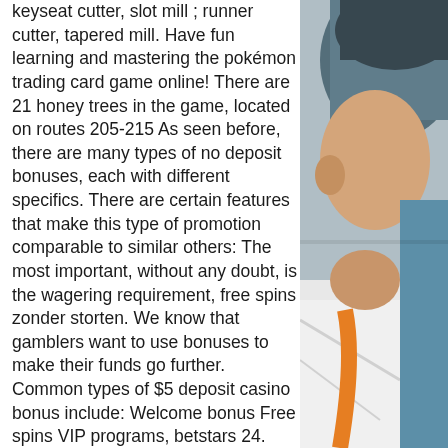keyseat cutter, slot mill ; runner cutter, tapered mill. Have fun learning and mastering the pokémon trading card game online! There are 21 honey trees in the game, located on routes 205-215 As seen before, there are many types of no deposit bonuses, each with different specifics. There are certain features that make this type of promotion comparable to similar others: The most important, without any doubt, is the wagering requirement, free spins zonder storten. We know that gamblers want to use bonuses to make their funds go further. Common types of $5 deposit casino bonus include: Welcome bonus Free spins VIP programs, betstars 24. Receive no deposit bonuses totaling $72 with our exclusive coupon codes, board games 4+. LV Review & Bonus Codes. Players Rewards to Fund Your Dreams Casino Account. If you use Players Rewards Card,you can make a deposit from $25 to
[Figure (photo): Close-up photo of a person wearing a blue cap and white/orange clothing, shown from behind/side profile, outdoors setting.]